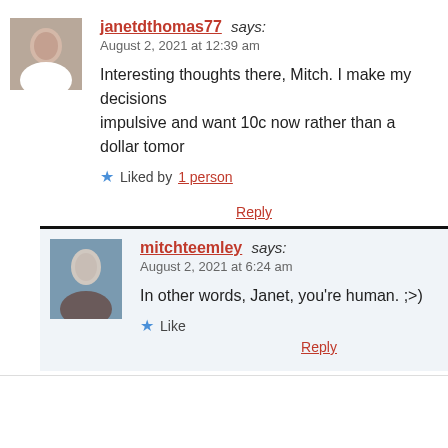[Figure (photo): Avatar photo of janetdthomas77 - older woman in white top]
janetdthomas77 says:
August 2, 2021 at 12:39 am
Interesting thoughts there, Mitch. I make my decisions impulsive and want 10c now rather than a dollar tomor
Liked by 1 person
Reply
[Figure (photo): Avatar photo of mitchteemley - older man with white hair]
mitchteemley says:
August 2, 2021 at 6:24 am
In other words, Janet, you're human. ;>)
Like
Reply